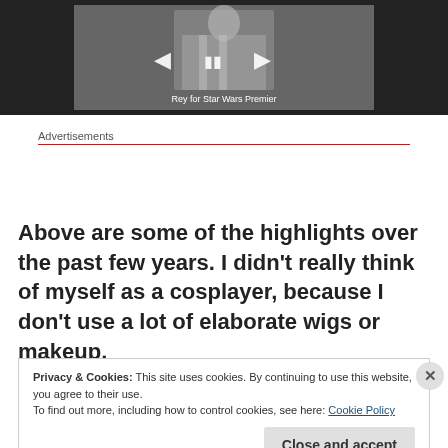[Figure (screenshot): Video player showing a person in costume with navigation controls and caption 'Rey for Star Wars Premier']
Rey for Star Wars Premier
Advertisements
Above are some of the highlights over the past few years. I didn't really think of myself as a cosplayer, because I don't use a lot of elaborate wigs or makeup.
Privacy & Cookies: This site uses cookies. By continuing to use this website, you agree to their use.
To find out more, including how to control cookies, see here: Cookie Policy
Close and accept